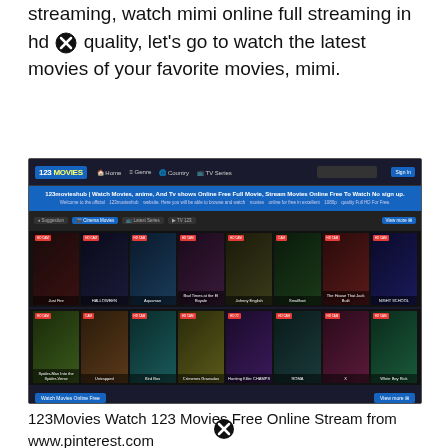streaming, watch mimi online full streaming in hd quality, let's go to watch the latest movies of your favorite movies, mimi.
[Figure (screenshot): Screenshot of 123movieshub website showing movie streaming interface with navigation bar, banner text '123movieshub | Watch Movies, anime, And Tv shows Online Free Full Movie, Stream Movies Online Free To Watch No sign up.', and two rows of movie posters including Halloween, Aquaman, Night School, Roma, and others on a dark background.]
123Movies Watch 123 Movies Free Online Stream from www.pinterest.com